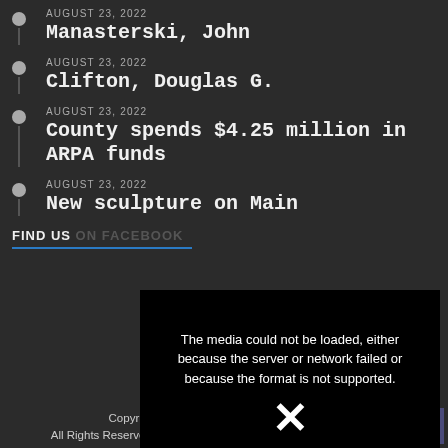AUGUST 23, 2022 — Manasterski, John
AUGUST 23, 2022 — Clifton, Douglas G.
AUGUST 23, 2022 — County spends $4.25 million in ARPA funds
AUGUST 23, 2022 — New sculpture on Main
FIND US ON FACEBOOK
[Figure (screenshot): Media error overlay: 'The media could not be loaded, either because the server or network failed or because the format is not supported.' with an X icon.]
Copyright © 2022 Multi Media Channels LLC. All Rights Reserved. No part of this publication or any of its contents